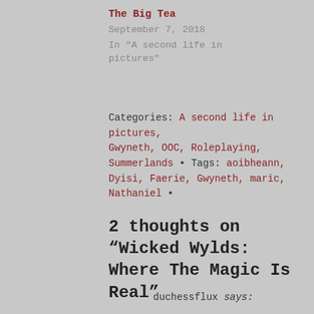The Big Tea
September 7, 2018
In "A second life in pictures"
Categories: A second life in pictures, Gwyneth, OOC, Roleplaying, Summerlands • Tags: aoibheann, Dyisi, Faerie, Gwyneth, maric, Nathaniel •
2 thoughts on “Wicked Wylds: Where The Magic Is Real”
duchessflux says: